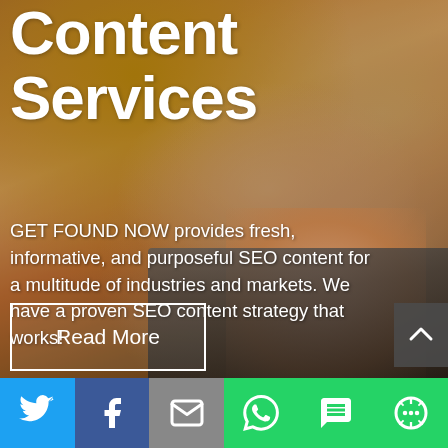[Figure (photo): Person's hand on a laptop keyboard with warm wooden background and bracelet, serving as hero background image for Content Services page]
Content Services
GET FOUND NOW provides fresh, informative, and purposeful SEO content for a multitude of industries and markets. We have a proven SEO content strategy that works!
Read More
[Figure (infographic): Social sharing bar with Twitter, Facebook, Email, WhatsApp, SMS, and More icons]